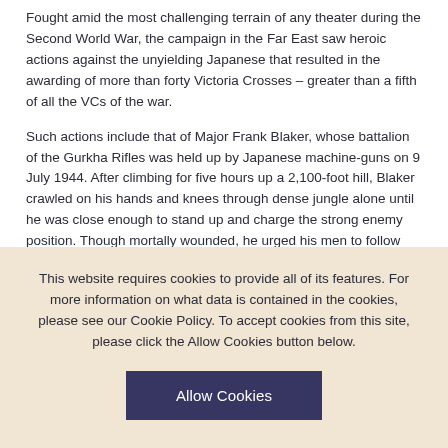Fought amid the most challenging terrain of any theater during the Second World War, the campaign in the Far East saw heroic actions against the unyielding Japanese that resulted in the awarding of more than forty Victoria Crosses – greater than a fifth of all the VCs of the war.
Such actions include that of Major Frank Blaker, whose battalion of the Gurkha Rifles was held up by Japanese machine-guns on 9 July 1944. After climbing for five hours up a 2,100-foot hill, Blaker crawled on his hands and knees through dense jungle alone until he was close enough to stand up and charge the strong enemy position. Though mortally wounded, he urged his men to follow and the hilltop was taken.
During the famous Chindit operations, Lieutenant George Cairns was with the South Staffordshire Regiment as it attacked a Japanese position on top of 'Pagoda Hill'. The Chindits reached the summit and, charging into the Japanese, a vicious hand-to-hand battle ensued. In the fighting a Japanese
This website requires cookies to provide all of its features. For more information on what data is contained in the cookies, please see our Cookie Policy. To accept cookies from this site, please click the Allow Cookies button below.